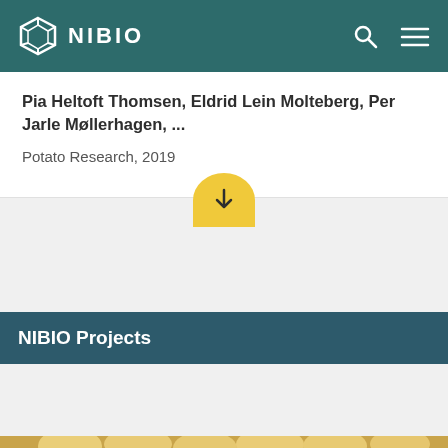NIBIO
Pia Heltoft Thomsen, Eldrid Lein Molteberg, Per Jarle Møllerhagen, ...
Potato Research, 2019
NIBIO Projects
[Figure (photo): Close-up photograph of multiple small yellow/golden potatoes piled together]